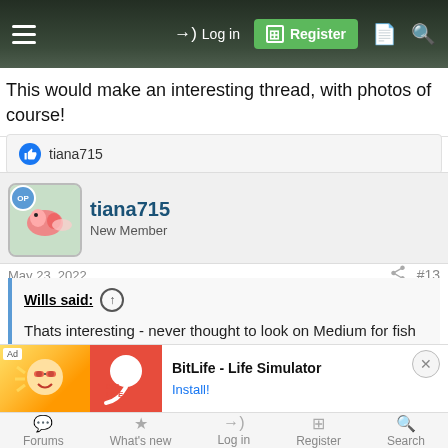Log in | Register
This would make an interesting thread, with photos of course!
👍 tiana715
tiana715
New Member
May 23, 2022
#13
Wills said: ↑
Thats interesting - never thought to look on Medium for fish stuff 🙂
[Figure (screenshot): BitLife - Life Simulator advertisement banner with Install! link]
Forums | What's new | Log in | Register | Search